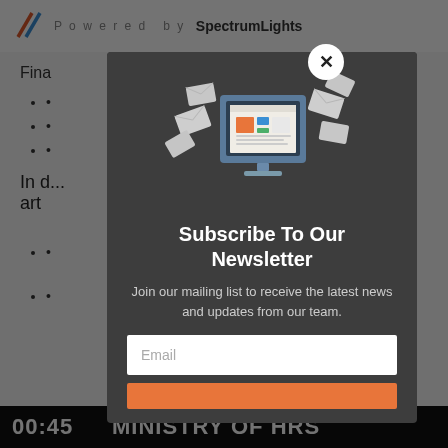Powered by SpectrumLights
Fina
In a... art
ed in
[Figure (illustration): Newsletter subscription modal with email icon/computer graphic showing envelopes and a newspaper on screen. Contains title 'Subscribe To Our Newsletter', description text 'Join our mailing list to receive the latest news and updates from our team.', an Email input field, and a subscribe button. A close (X) button appears at top right.]
00:45   MINISTRY OF HRS